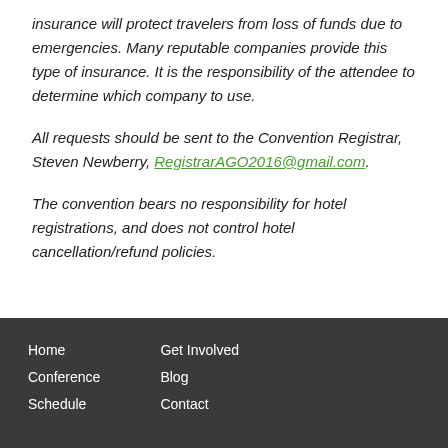insurance will protect travelers from loss of funds due to emergencies. Many reputable companies provide this type of insurance. It is the responsibility of the attendee to determine which company to use.
All requests should be sent to the Convention Registrar, Steven Newberry, RegistrarAGO2016@gmail.com.
The convention bears no responsibility for hotel registrations, and does not control hotel cancellation/refund policies.
Home Conference Schedule Get Involved Blog Contact